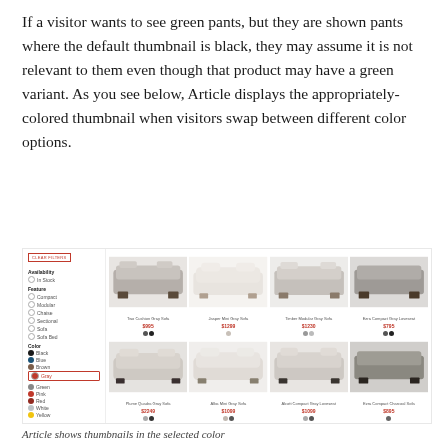If a visitor wants to see green pants, but they are shown pants where the default thumbnail is black, they may assume it is not relevant to them even though that product may have a green variant. As you see below, Article displays the appropriately-colored thumbnail when visitors swap between different color options.
[Figure (screenshot): Screenshot of an e-commerce product listing page showing sofas in different colors. Left sidebar has filters for Availability, Feature, and Color (with 'Brown' selected in a red box). Main area shows 8 sofa products in a 4x2 grid, displayed in gray/beige tones corresponding to the selected color filter. Each product shows a thumbnail image, product name, price in red, and color swatches.]
Article shows thumbnails in the selected color